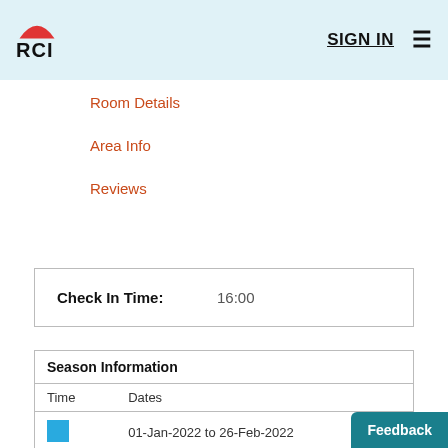RCI  SIGN IN
Room Details
Area Info
Reviews
| Check In Time: | 16:00 |
| Time | Dates |
| --- | --- |
| (blue) | 01-Jan-2022 to 26-Feb-2022 |
| (red) | 19-Mar-2022 to 03-Dec-2022 |